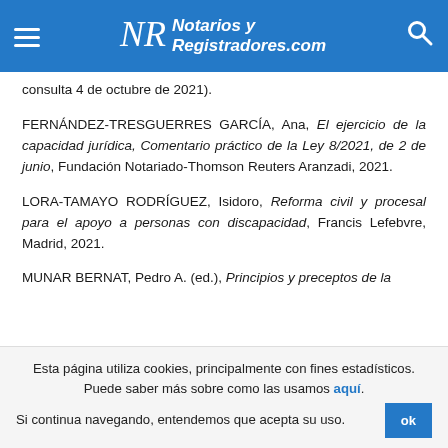Notarios y Registradores.com
consulta 4 de octubre de 2021).
FERNÁNDEZ-TRESGUERRES GARCÍA, Ana, El ejercicio de la capacidad jurídica, Comentario práctico de la Ley 8/2021, de 2 de junio, Fundación Notariado-Thomson Reuters Aranzadi, 2021.
LORA-TAMAYO RODRÍGUEZ, Isidoro, Reforma civil y procesal para el apoyo a personas con discapacidad, Francis Lefebvre, Madrid, 2021.
MUNAR BERNAT, Pedro A. (ed.), Principios y preceptos de la
Esta página utiliza cookies, principalmente con fines estadísticos. Puede saber más sobre como las usamos aquí. Si continua navegando, entendemos que acepta su uso.